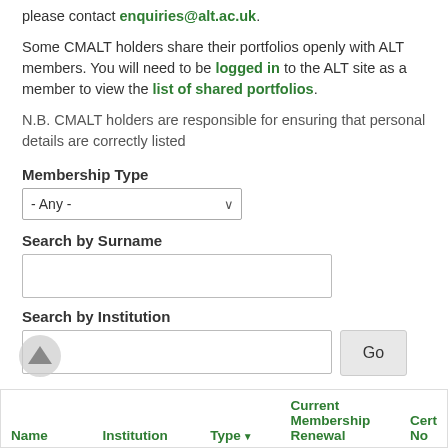please contact enquiries@alt.ac.uk.
Some CMALT holders share their portfolios openly with ALT members. You will need to be logged in to the ALT site as a member to view the list of shared portfolios.
N.B. CMALT holders are responsible for ensuring that personal details are correctly listed
Membership Type
- Any -
Search by Surname
Search by Institution
Go
| Name | Institution | Type | Current Membership Renewal | Cert No |
| --- | --- | --- | --- | --- |